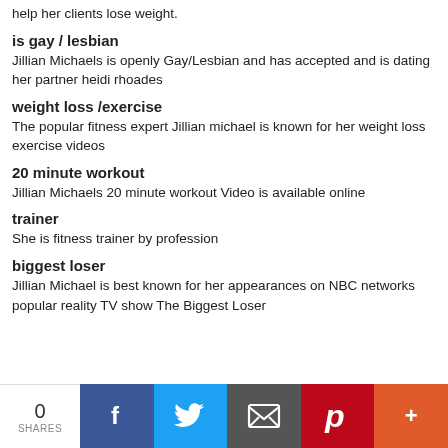help her clients lose weight.
is gay / lesbian
Jillian Michaels is openly Gay/Lesbian and has accepted and is dating her partner heidi rhoades
weight loss /exercise
The popular fitness expert Jillian michael is known for her weight loss exercise videos
20 minute workout
Jillian Michaels 20 minute workout Video is available online
trainer
She is fitness trainer by profession
biggest loser
Jillian Michael is best known for her appearances on NBC networks popular reality TV show The Biggest Loser
0 SHARES | Facebook | Twitter | Email | Pinterest | More